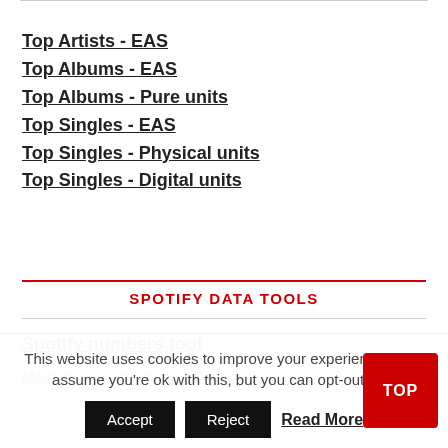Top Artists - EAS
Top Albums - EAS
Top Albums - Pure units
Top Singles - EAS
Top Singles - Physical units
Top Singles - Digital units
SPOTIFY DATA TOOLS
Spotify numbers tool
Most streamed artists (all-time)
This website uses cookies to improve your experience. We'll assume you're ok with this, but you can opt-out if yo
Accept   Reject   Read More